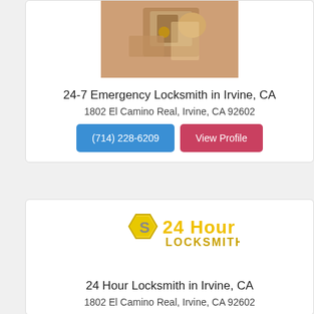[Figure (photo): Photo of hands working on a door lock/knob]
24-7 Emergency Locksmith in Irvine, CA
1802 El Camino Real, Irvine, CA 92602
(714) 228-6209 | View Profile
[Figure (logo): 24 Hour Locksmith logo with yellow hexagon shield and S letter]
24 Hour Locksmith in Irvine, CA
1802 El Camino Real, Irvine, CA 92602